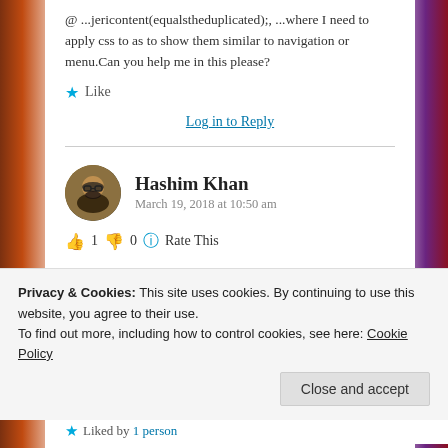@ ...jericontent(equalstheduplicated);, ...where I need to apply css to as to show them similar to navigation or menu.Can you help me in this please?
★ Like
Log in to Reply
Hashim Khan
March 19, 2018 at 10:50 am
👍 1 👎 0 ℹ Rate This
Hi,
Privacy & Cookies: This site uses cookies. By continuing to use this website, you agree to their use.
To find out more, including how to control cookies, see here: Cookie Policy
Close and accept
★ Liked by 1 person